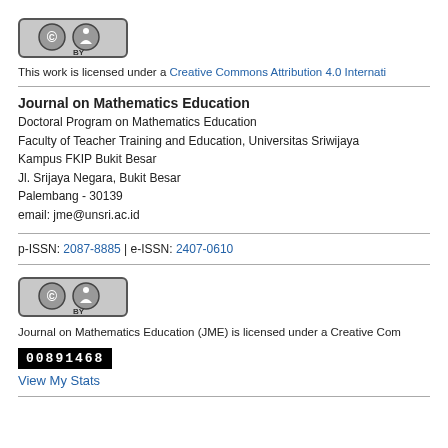[Figure (logo): Creative Commons BY license logo (grey background, CC and person icons)]
This work is licensed under a Creative Commons Attribution 4.0 Internati...
Journal on Mathematics Education
Doctoral Program on Mathematics Education
Faculty of Teacher Training and Education, Universitas Sriwijaya
Kampus FKIP Bukit Besar
Jl. Srijaya Negara, Bukit Besar
Palembang - 30139
email: jme@unsri.ac.id
p-ISSN: 2087-8885 | e-ISSN: 2407-0610
[Figure (logo): Creative Commons BY license logo (grey background, CC and person icons)]
Journal on Mathematics Education (JME) is licensed under a Creative Com...
[Figure (other): Barcode/counter image showing number 00891468]
View My Stats